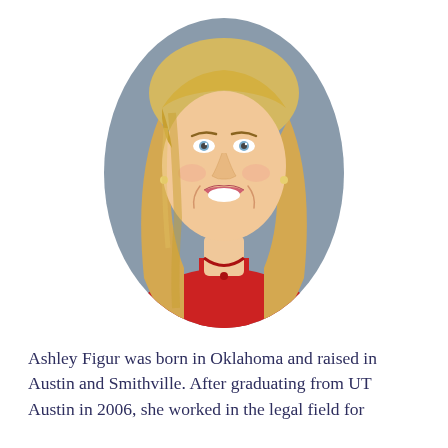[Figure (photo): Oval-cropped professional headshot of a smiling blonde woman wearing a red top, photographed against a gray background.]
Ashley Figur was born in Oklahoma and raised in Austin and Smithville. After graduating from UT Austin in 2006, she worked in the legal field for